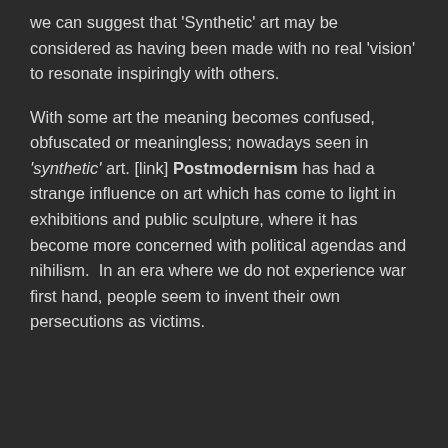we can suggest that 'Synthetic' art may be considered as having been made with no real 'vision' to resonate inspiringly with others.
With some art the meaning becomes confused, obfuscated or meaningless; nowadays seen in 'synthetic' art. [link] Postmodernism has had a strange influence on art which has come to light in exhibitions and public sculpture, where it has become more concerned with political agendas and nihilism.  In an era where we do not experience war first hand, people seem to invent their own persecutions as victims.